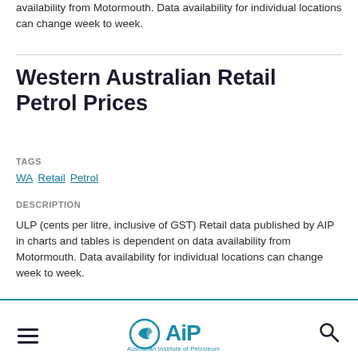availability from Motormouth. Data availability for individual locations can change week to week.
Western Australian Retail Petrol Prices
TAGS
WA  Retail  Petrol
DESCRIPTION
ULP (cents per litre, inclusive of GST) Retail data published by AIP in charts and tables is dependent on data availability from Motormouth. Data availability for individual locations can change week to week.
Australian Institute of Petroleum